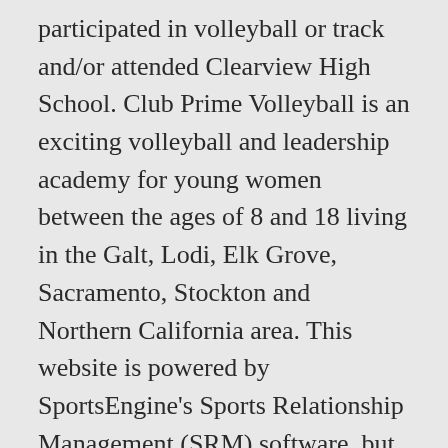participated in volleyball or track and/or attended Clearview High School. Club Prime Volleyball is an exciting volleyball and leadership academy for young women between the ages of 8 and 18 living in the Galt, Lodi, Elk Grove, Sacramento, Stockton and Northern California area. This website is powered by SportsEngine's Sports Relationship Management (SRM) software, but is owned by and subject to the Cleveland Volleyball Company privacy policy. Tryouts. Search. Amateur Sports Team. Our goal is to provide a top-notch volleyball academy for boys and girls of all ages to participate in. The Nike Team Shop is now open! Please register below! info@clevprime.com ©2018 ClevPRIME. Please